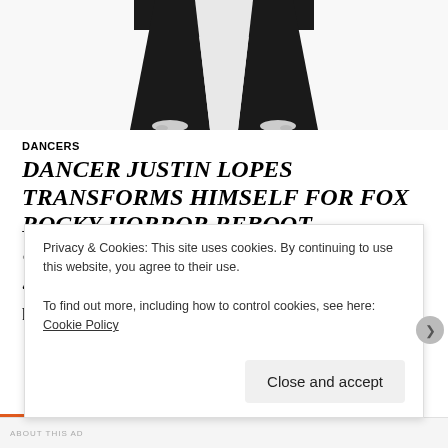[Figure (photo): Black and white photo of a dancer's legs/lower body from above, cropped]
DANCERS
DANCER JUSTIN LOPES TRANSFORMS HIMSELF FOR FOX ROCKY HORROR REBOOT
JULY 28, 2016  LORRAINE WILDER  LEAVE A COMMENT
“You don’t realize how exciting something is until it’s actually happening,” says Canadian dancer Justin Lopes.
Privacy & Cookies: This site uses cookies. By continuing to use this website, you agree to their use. To find out more, including how to control cookies, see here: Cookie Policy